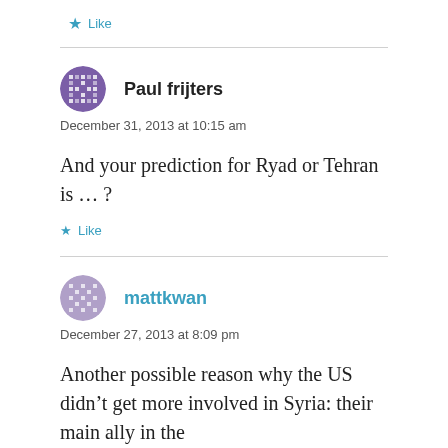★ Like
Paul frijters
December 31, 2013 at 10:15 am
And your prediction for Ryad or Tehran is … ?
★ Like
mattkwan
December 27, 2013 at 8:09 pm
Another possible reason why the US didn't get more involved in Syria: their main ally in the